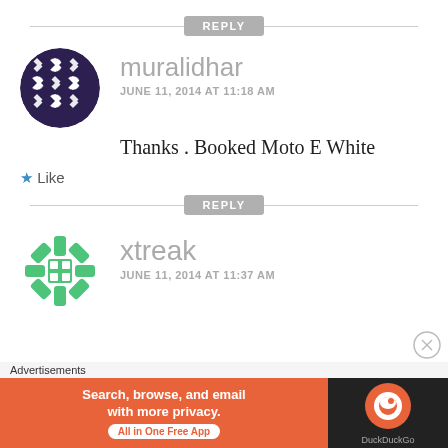[Figure (other): REPLY button with horizontal rule]
[Figure (other): muralidhar user avatar - geometric black and white circular pattern]
muralidhar
JUNE 11, 2014 AT 11:18 AM
Thanks . Booked Moto E White
★ Like
[Figure (other): REPLY button with horizontal rule]
[Figure (logo): xtreak user avatar - green geometric logo]
xtreak
JUNE 11, 2014 AT 11:37 AM
Advertisements
[Figure (other): DuckDuckGo advertisement banner: Search, browse, and email with more privacy. All in One Free App]